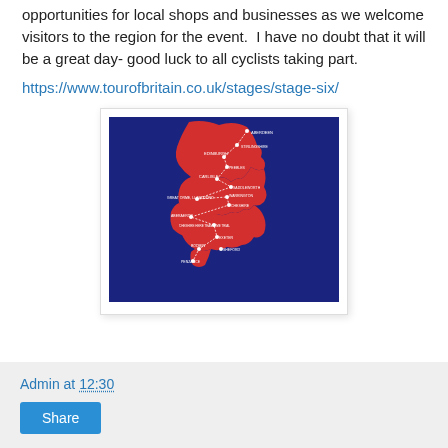opportunities for local shops and businesses as we welcome visitors to the region for the event.  I have no doubt that it will be a great day- good luck to all cyclists taking part.
https://www.tourofbritain.co.uk/stages/stage-six/
[Figure (map): Map of Great Britain with red landmass on blue background showing the Tour of Britain cycling race stages with labeled locations including Aberdeen, Edinburgh, Carlisle, Great Orme, Llandudno, Warrington, Saddleworth, Aberaeron, Cheltenham, Cheshire Team Time Trial, Exeter, Bodmin, Penzance, and Sheford.]
Admin at 12:30
Share